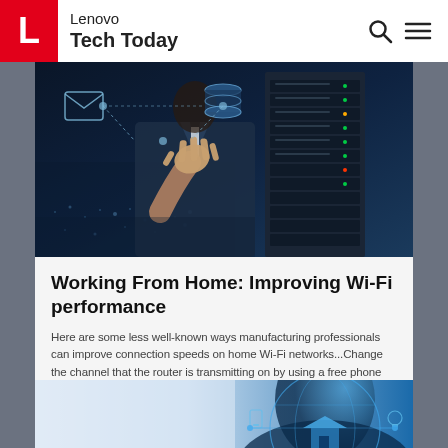Lenovo Tech Today
[Figure (photo): Person in business suit touching a digital network interface with glowing icons, overlaid with server rack imagery and city lights in dark blue tones]
Working From Home: Improving Wi-Fi performance
Here are some less well-known ways manufacturing professionals can improve connection speeds on home Wi-Fi networks...Change the channel that the router is transmitting on by using a free phone app to...
[Figure (photo): Partial view of a head silhouette overlaid with glowing digital smart home network diagram on blue background]